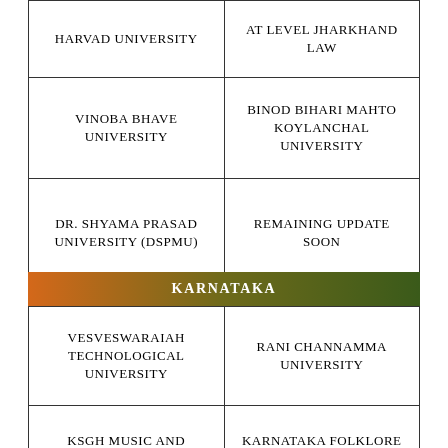| HARVAD UNIVERSITY | AT LEVEL JHARKHAND LAW |
| VINOBA BHAVE UNIVERSITY | BINOD BIHARI MAHTO KOYLANCHAL UNIVERSITY |
| DR. SHYAMA PRASAD UNIVERSITY (DSPMU) | REMAINING UPDATE SOON |
KARNATAKA
| VESVESWARAIAH TECHNOLOGICAL UNIVERSITY | RANI CHANNAMMA UNIVERSITY |
| KSGH MUSIC AND PERFORMING ARTS | KARNATAKA FOLKLORE UNIVERSITY |